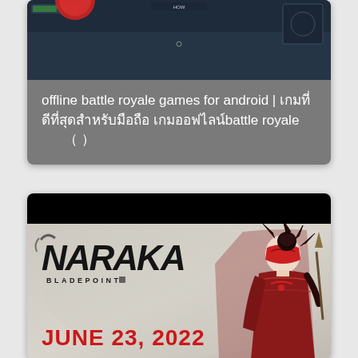[Figure (screenshot): Screenshot of a game video with dark blue/grey game HUD interface visible at top]
offline battle royale games for android | เกมที่ดีที่สุดสำหรับมือถือ เกมออฟไลน์battle royale ( )
[Figure (screenshot): Naraka Bladepoint game promotional image showing the game logo, BLADEPOINT subtitle, JUNE 23, 2022 release date in red text, and a female character in red and black armor with a mask on the right side]